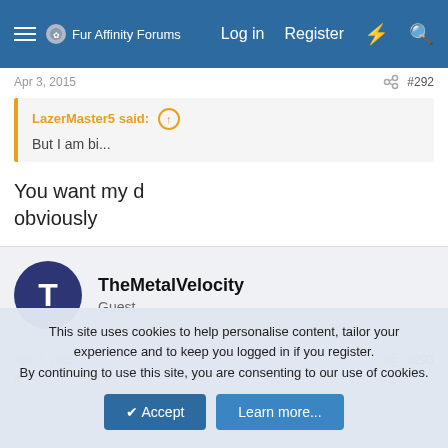Fur Affinity Forums — Log in  Register
Apr 3, 2015  #292
LazerMaster5 said: ↑
But I am bi...
You want my d
obviously
TheMetalVelocity
Guest
Apr 3, 2015  #293
This site uses cookies to help personalise content, tailor your experience and to keep you logged in if you register.
By continuing to use this site, you are consenting to our use of cookies.